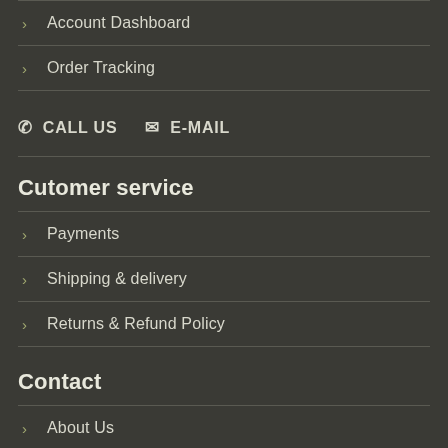Account Dashboard
Order Tracking
CALL US  E-MAIL
Cutomer service
Payments
Shipping & delivery
Returns & Refund Policy
Contact
About Us
Blog